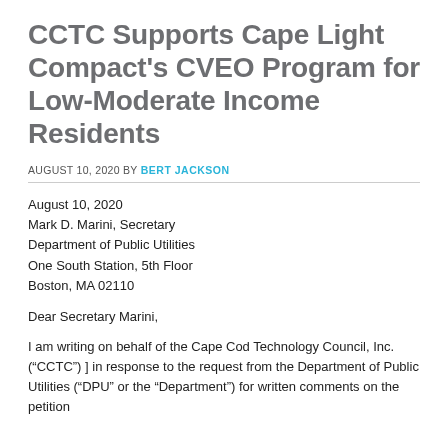CCTC Supports Cape Light Compact’s CVEO Program for Low-Moderate Income Residents
AUGUST 10, 2020 BY BERT JACKSON
August 10, 2020
Mark D. Marini, Secretary
Department of Public Utilities
One South Station, 5th Floor
Boston, MA 02110
Dear Secretary Marini,
I am writing on behalf of the Cape Cod Technology Council, Inc. (“CCTC”) ] in response to the request from the Department of Public Utilities (“DPU” or the “Department”) for written comments on the petition